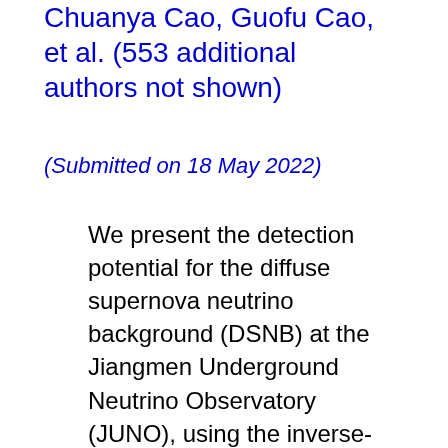Chuanya Cao, Guofu Cao, et al. (553 additional authors not shown)
(Submitted on 18 May 2022)
We present the detection potential for the diffuse supernova neutrino background (DSNB) at the Jiangmen Underground Neutrino Observatory (JUNO), using the inverse-beta-decay (IBD) detection channel on free protons. We